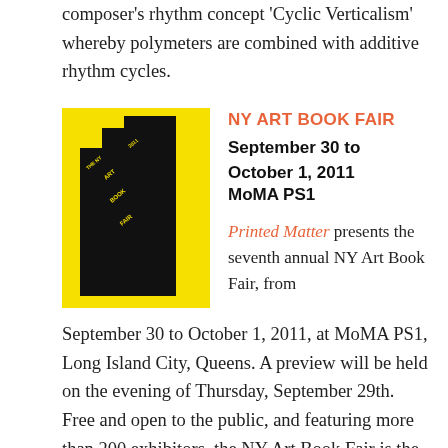composer's rhythm concept 'Cyclic Verticalism' whereby polymeters are combined with additive rhythm cycles.
[Figure (illustration): NY Art Book Fair 2011 poster/logo showing black stepped/staircase shapes on yellow background with text]
NY ART BOOK FAIR
September 30 to October 1, 2011
MoMA PS1
Printed Matter presents the seventh annual NY Art Book Fair, from September 30 to October 1, 2011, at MoMA PS1, Long Island City, Queens. A preview will be held on the evening of Thursday, September 29th. Free and open to the public, and featuring more than 200 exhibitors, the NY Art Book Fair is the world's premier event for artists' books, contemporary art catalogs and monographs, art periodicals, and artist zines. Exhibitors include international presses, booksellers, antiquarian dealers,